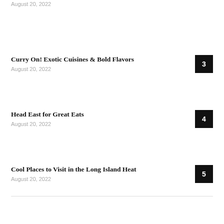August 20, 2022
Curry On! Exotic Cuisines & Bold Flavors
August 20, 2022
Head East for Great Eats
August 20, 2022
Cool Places to Visit in the Long Island Heat
August 20, 2022